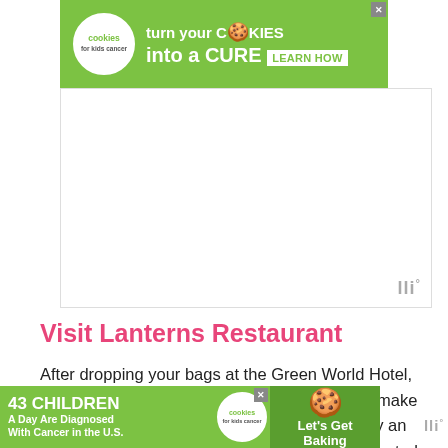[Figure (screenshot): Green advertisement banner: cookies for kids cancer - turn your COOKIES into a CURE LEARN HOW]
[Figure (screenshot): White empty advertisement space with mobi logo watermark in bottom right]
Visit Lanterns Restaurant
After dropping your bags at the Green World Hotel, you've got a free afternoon! I recommend you make your way to Lanterns Restaurant. It's owned by an Australian man living in Melbourne, but was created to give back to the Nha Trang community. The food is delicious and reasonably priced, and
[Figure (screenshot): Green advertisement banner bottom: 43 CHILDREN A Day Are Diagnosed With Cancer in the U.S. — cookies for kids cancer — Let's Get Baking]